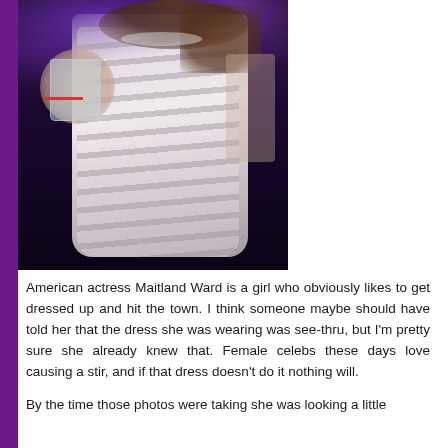[Figure (photo): Photo of American actress Maitland Ward at a party/nightclub, wearing a white striped semi-sheer dress, holding a glass of water/drink, with dark curly hair and dark nail polish, wristbands visible]
American actress Maitland Ward is a girl who obviously likes to get dressed up and hit the town. I think someone maybe should have told her that the dress she was wearing was see-thru, but I'm pretty sure she already knew that. Female celebs these days love causing a stir, and if that dress doesn't do it nothing will.
By the time those photos were taking she was looking a little